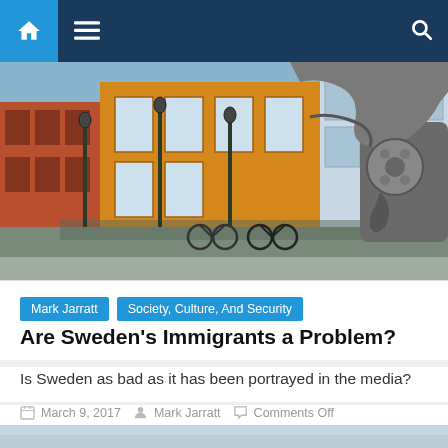Navigation bar with home icon, hamburger menu, and search icon
[Figure (photo): Street scene with European buildings (red brick and yellow facade), bicycles parked along the street, ornate street lamps, and a large sculpture of a revolver with a knotted barrel on the right side]
Mark Jarratt | Society, Culture, And Security
Are Sweden's Immigrants a Problem?
Is Sweden as bad as it has been portrayed in the media?
March 9, 2017  Mark Jarratt  Comments Off
[Figure (photo): Partial view of a sky/horizon photo, lightly colored blue-grey sky]